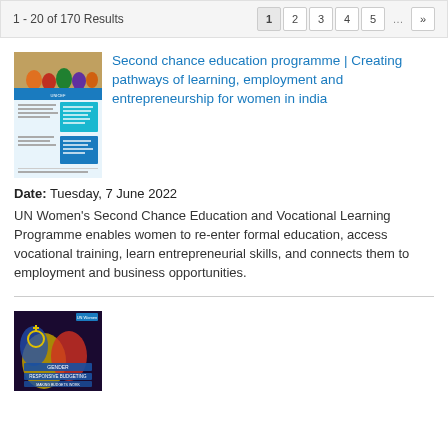1 - 20 of 170 Results
[Figure (screenshot): Thumbnail of UN Women second chance education programme document]
Second chance education programme | Creating pathways of learning, employment and entrepreneurship for women in india
Date: Tuesday, 7 June 2022
UN Women's Second Chance Education and Vocational Learning Programme enables women to re-enter formal education, access vocational training, learn entrepreneurial skills, and connects them to employment and business opportunities.
[Figure (screenshot): Thumbnail of Gender Responsive Budgeting document]